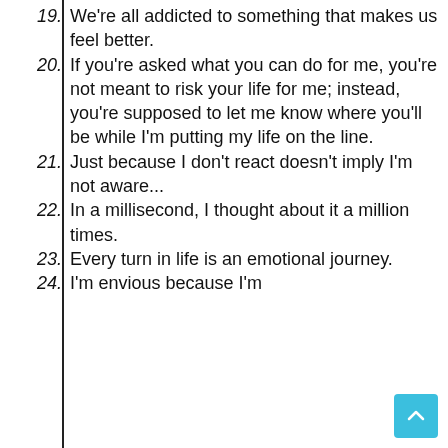19. We're all addicted to something that makes us feel better.
20. If you're asked what you can do for me, you're not meant to risk your life for me; instead, you're supposed to let me know where you'll be while I'm putting my life on the line.
21. Just because I don't react doesn't imply I'm not aware...
22. In a millisecond, I thought about it a million times.
23. Every turn in life is an emotional journey.
24. I'm envious because I'm